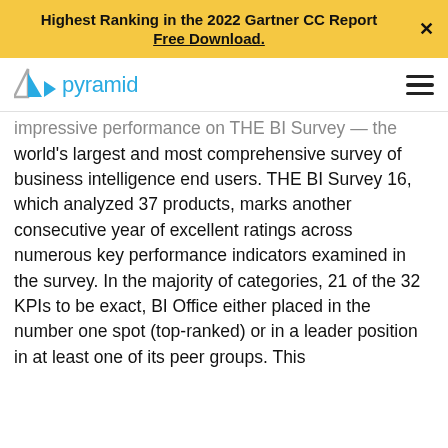Highest Ranking in the 2022 Gartner CC Report
Free Download.
[Figure (logo): Pyramid Analytics logo with triangular icon and 'pyramid' text in blue]
impressive performance on THE BI Survey — the world's largest and most comprehensive survey of business intelligence end users. THE BI Survey 16, which analyzed 37 products, marks another consecutive year of excellent ratings across numerous key performance indicators examined in the survey. In the majority of categories, 21 of the 32 KPIs to be exact, BI Office either placed in the number one spot (top-ranked) or in a leader position in at least one of its peer groups. This